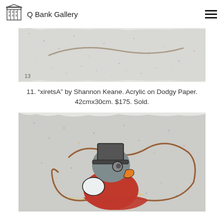Q Bank Gallery
[Figure (photo): Top portion of artwork 'xiretsA' by Shannon Keane — a textured grey speckled surface with faint curved mark, number '13' visible at lower left corner]
11. “xiretsA” by Shannon Keane. Acrylic on Dodgy Paper. 42cmx30cm. $175. Sold.
[Figure (photo): Lower artwork showing a cartoon character (Scrooge McDuck style figure with top hat, red coat) painted on textured speckled grey recycled paper background with colourful paint flecks]